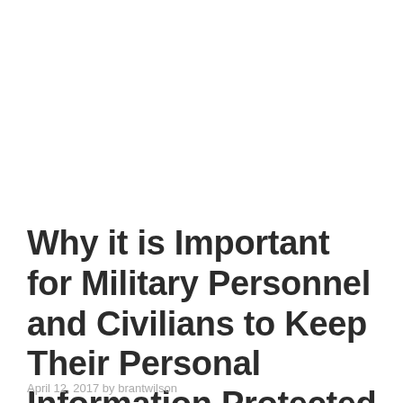Why it is Important for Military Personnel and Civilians to Keep Their Personal Information Protected
April 12, 2017 by brantwilson